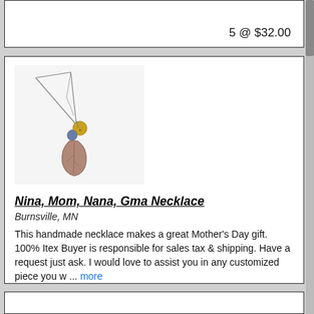5 @ $32.00
[Figure (photo): Photo of a handmade necklace with a chain, a small gold disc charm, a blue/gray bead, and a copper/mauve leaf-shaped pendant, on white background]
Nina, Mom, Nana, Gma Necklace
Burnsville, MN
This handmade necklace makes a great Mother's Day gift. 100% Itex Buyer is responsible for sales tax & shipping. Have a request just ask. I would love to assist you in any customized piece you w ... more
5 @ $32.00